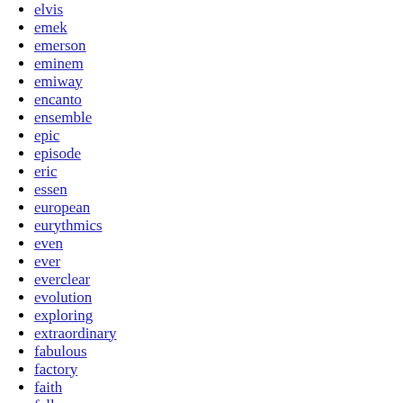elvis
emek
emerson
eminem
emiway
encanto
ensemble
epic
episode
eric
essen
european
eurythmics
even
ever
everclear
evolution
exploring
extraordinary
fabulous
factory
faith
fall
family
fangs
fantabulous
fantastic
farhan